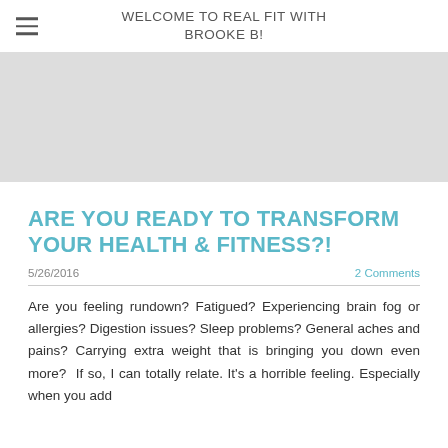WELCOME TO REAL FIT WITH BROOKE B!
[Figure (other): Gray banner image placeholder area]
ARE YOU READY TO TRANSFORM YOUR HEALTH & FITNESS?!
5/26/2016    2 Comments
Are you feeling rundown? Fatigued? Experiencing brain fog or allergies? Digestion issues? Sleep problems? General aches and pains? Carrying extra weight that is bringing you down even more? If so, I can totally relate. It's a horrible feeling. Especially when you add